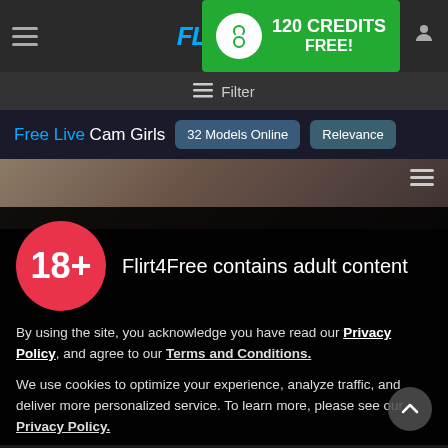[Figure (screenshot): Flirt4Free website navigation bar with hamburger menu, logo, 120 Credits FREE banner, and user icon]
≡ Filter
Free Live Cam Girls
32 Models Online
Relevance
[Figure (screenshot): Background image of a person in a dark room]
18+
Flirt4Free contains adult content
By using the site, you acknowledge you have read our Privacy Policy, and agree to our Terms and Conditions.
We use cookies to optimize your experience, analyze traffic, and deliver more personalized service. To learn more, please see our Privacy Policy.
I AGREE